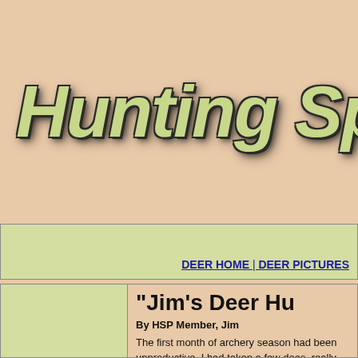[Figure (logo): Hunting Sp... website logo with large stylized handwritten text in olive/yellow-green color with dark shadow on tan/peach background]
DEER HOME | DEER PICTURES
"Jim's Deer Hu...
By HSP Member, Jim
The first month of archery season had been unproductive. I had taken a few does, really down. In fact, going into the first part was that I had spent so much time to change.
I had taken November 13th to the 22n... I invited two good friends of mine, Jeff with me the 14th to the 19th and Alan plus my two boys, Zac and Hunter.